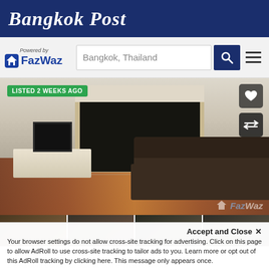Bangkok Post
[Figure (logo): FazWaz powered-by logo with house icon and search bar showing 'Bangkok, Thailand']
[Figure (photo): Interior photo of a furnished apartment living room with hardwood floors, a dark L-shaped sofa, white walls, sliding glass door to balcony, TV on stand, and Roman blinds. Badge reads 'LISTED 2 WEEKS AGO'. FazWaz watermark visible.]
[Figure (photo): Row of four thumbnail images of the same apartment listing]
Accept and Close ✕
Your browser settings do not allow cross-site tracking for advertising. Click on this page to allow AdRoll to use cross-site tracking to tailor ads to you. Learn more or opt out of this AdRoll tracking by clicking here. This message only appears once.
2 Bedroom Condo for sale at Some Thai Location